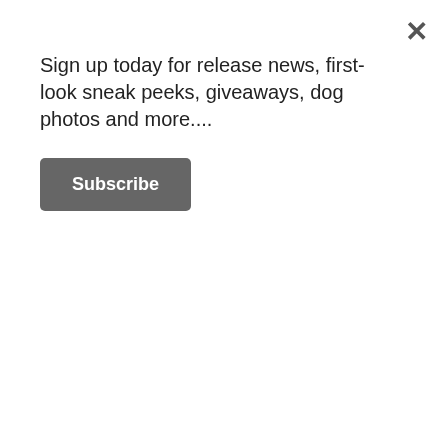[Figure (photo): Close-up of watercolor paint palette with colorful paint wells and metal rails/trays]
[Figure (photo): Tree branches against grey/white background visible in left sidebar]
If you follow me on Instagram, you’ll probably know that I spent this past weekend in Paris. A quick trip, leaving London early Saturday morning and arriving back (late) last night, I went with a close friend from Australia who arrived in England on Friday.
[Figure (photo): Sky with light blue and pinkish clouds, bottom of page]
Sign up today for release news, first-look sneak peeks, giveaways, dog photos and more....
Subscribe